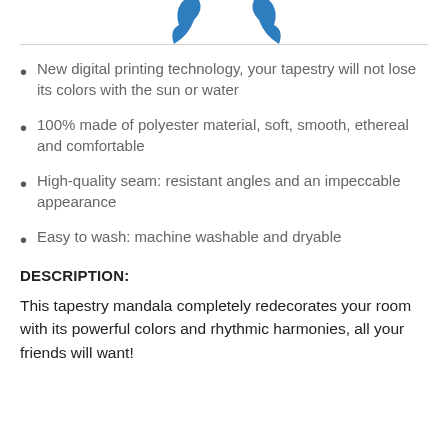[Figure (illustration): Partial blue decorative shapes visible at top of page]
New digital printing technology, your tapestry will not lose its colors with the sun or water
100% made of polyester material, soft, smooth, ethereal and comfortable
High-quality seam: resistant angles and an impeccable appearance
Easy to wash: machine washable and dryable
DESCRIPTION:
This tapestry mandala completely redecorates your room with its powerful colors and rhythmic harmonies, all your friends will want!